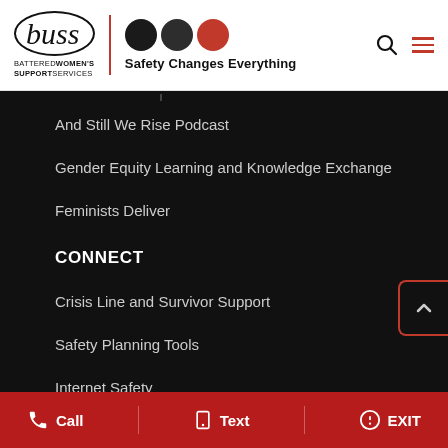[Figure (logo): buss (Battered Women's Support Services) logo with tagline 'Safety Changes Everything' and three circles (two dark, one red)]
And Still We Rise Podcast
Gender Equity Learning and Knowledge Exchange
Feminists Deliver
CONNECT
Crisis Line and Survivor Support
Safety Planning Tools
Internet Safety
Call   Text   EXIT